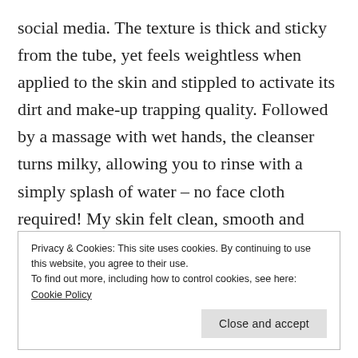social media. The texture is thick and sticky from the tube, yet feels weightless when applied to the skin and stippled to activate its dirt and make-up trapping quality. Followed by a massage with wet hands, the cleanser turns milky, allowing you to rinse with a simply splash of water – no face cloth required! My skin felt clean, smooth and incredibly fresh after use and I didn't experience any dryness at all. The lovely sweet scent makes for a treat for the
Privacy & Cookies: This site uses cookies. By continuing to use this website, you agree to their use.
To find out more, including how to control cookies, see here: Cookie Policy
Close and accept